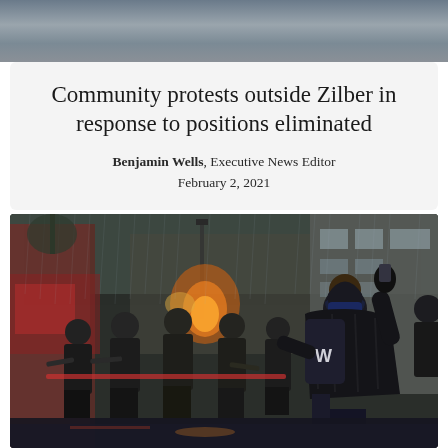[Figure (photo): Top portion of a protest scene photo, partially visible at top of page, showing a rainy urban street with dark tones]
Community protests outside Zilber in response to positions eliminated
Benjamin Wells, Executive News Editor
February 2, 2021
[Figure (photo): Protest scene on a rainy urban street showing police officers in riot gear forming a line, holding batons, facing a protester in a black puffer jacket with a 'W' backpack who has their hand raised. Orange fire and smoke visible in background between buildings.]